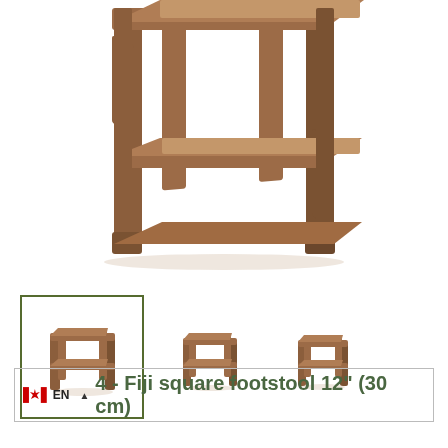[Figure (photo): Large product image of a wooden square footstool/bar stool frame, walnut brown finish, viewed from above at an angle showing the top rail and four legs with cross-braces]
[Figure (photo): Three thumbnail images of the Fiji square footstool from different angles: front-angle (selected, with green border), top-front, and side-front views]
EN  ▲ 4 - Fiji square footstool 12" (30 cm)